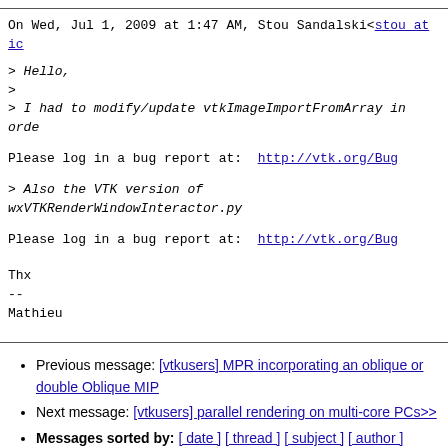On Wed, Jul 1, 2009 at 1:47 AM, Stou Sandalski<stou at ic
> Hello,
>
> I had to modify/update vtkImageImportFromArray in orde
Please log in a bug report at: http://vtk.org/Bug
> Also the VTK version of wxVTKRenderWindowInteractor.py
Please log in a bug report at: http://vtk.org/Bug
Thx
--
Mathieu
Previous message: [vtkusers] MPR incorporating an oblique or double Oblique MIP
Next message: [vtkusers] parallel rendering on multi-core PCs>>
Messages sorted by: [ date ] [ thread ] [ subject ] [ author ]
More information about the vtkusers mailing list